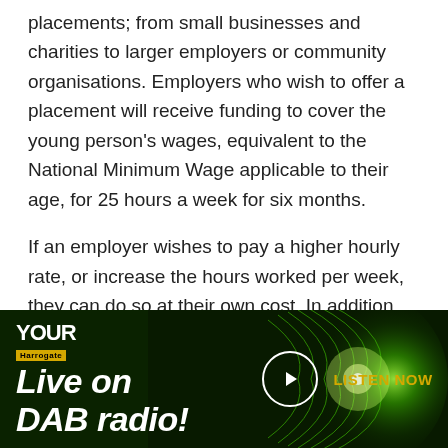placements; from small businesses and charities to larger employers or community organisations. Employers who wish to offer a placement will receive funding to cover the young person's wages, equivalent to the National Minimum Wage applicable to their age, for 25 hours a week for six months.
If an employer wishes to pay a higher hourly rate, or increase the hours worked per week, they can do so at their own cost. In addition, the employer will receive a one-off grant of £1,500
[Figure (infographic): Dark green banner advertisement for 'Your Harrogate' radio station. Shows logo 'YOUR Harrogate' in top left, large italic bold white text 'Live on DAB radio!' on the left, a circular play button in the centre-right, and golden 'LISTEN NOW' text to the right, with glowing green circuit-board lines on the right side.]